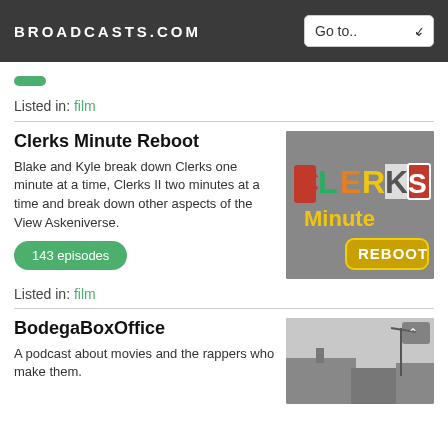BROADCASTS.COM
Listed in: film
Clerks Minute Reboot
Blake and Kyle break down Clerks one minute at a time, Clerks II two minutes at a time and break down other aspects of the View Askeniverse.
143 episodes
[Figure (logo): Clerks Minute Reboot podcast logo on grey background with colorful CLERKS text and yellow Minute text and gold REBOOT badge]
Listed in: film
BodegaBoxOffice
A podcast about movies and the rappers who make them.
[Figure (photo): Black and white photo of rooftop buildings with street lamp]